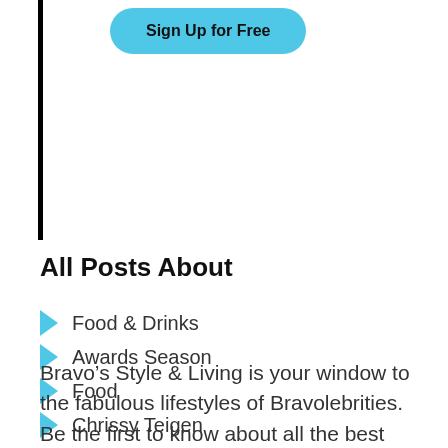[Figure (other): Blue rounded rectangle button labeled 'Sign Up for Free' with a thick black vertical bar on the left side]
All Posts About
Food & Drinks
Awards Season
Food
Chrissy Teigen
Bravo’s Style & Living is your window to the fabulous lifestyles of Bravolebrities. Be the first to know about all the best fashion and beauty looks,